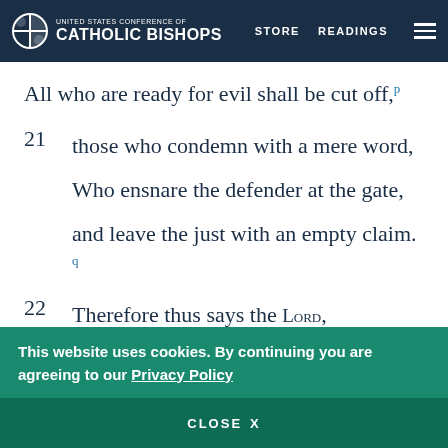UNITED STATES CONFERENCE OF CATHOLIC BISHOPS | STORE | READINGS
All who are ready for evil shall be cut off,p
21  those who condemn with a mere word,
Who ensnare the defender at the gate,
and leave the just with an empty claim. q
22  Therefore thus says the LORD,
the God of the house of Jacob
This website uses cookies. By continuing you are agreeing to our Privacy Policy
CLOSE X